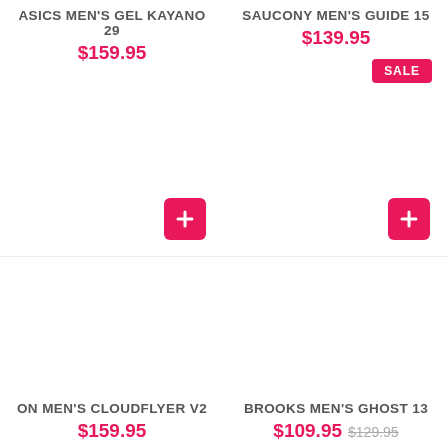ASICS MEN'S GEL KAYANO 29
$159.95
SAUCONY MEN'S GUIDE 15
$139.95
SALE
ON MEN'S CLOUDFLYER V2
$159.95
BROOKS MEN'S GHOST 13
$109.95  $129.95